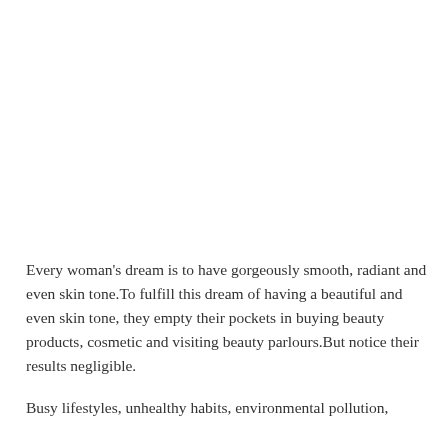Every woman's dream is to have gorgeously smooth, radiant and even skin tone.To fulfill this dream of having a beautiful and even skin tone, they empty their pockets in buying beauty products, cosmetic and visiting beauty parlours.But notice their results negligible.
Busy lifestyles, unhealthy habits, environmental pollution,